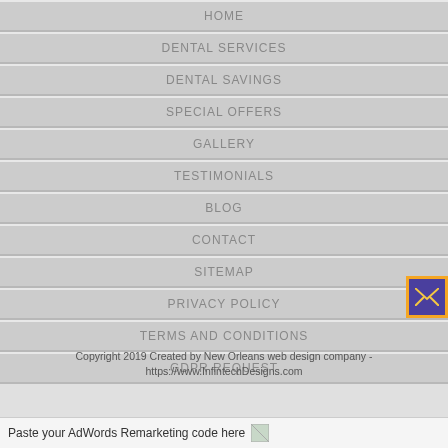HOME
DENTAL SERVICES
DENTAL SAVINGS
SPECIAL OFFERS
GALLERY
TESTIMONIALS
BLOG
CONTACT
SITEMAP
PRIVACY POLICY
TERMS AND CONDITIONS
GDPR REQUEST
Copyright 2019 Created by New Orleans web design company - https://www.InfintechDesigns.com
Paste your AdWords Remarketing code here